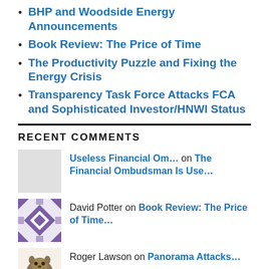BHP and Woodside Energy Announcements
Book Review: The Price of Time
The Productivity Puzzle and Fixing the Energy Crisis
Transparency Task Force Attacks FCA and Sophisticated Investor/HNWI Status
RECENT COMMENTS
Useless Financial Om… on The Financial Ombudsman Is Use…
David Potter on Book Review: The Price of Time…
Roger Lawson on Panorama Attacks…